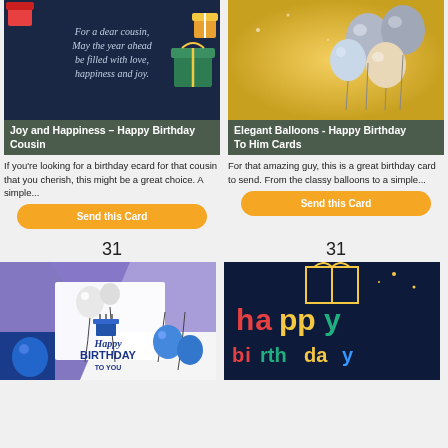[Figure (illustration): Birthday card for cousin with dark blue background, gift boxes, and text: For a dear cousin, May the year ahead be filled with love, happiness and joy.]
Joy and Happiness – Happy Birthday Cousin
If you're looking for a birthday ecard for that cousin that you cherish, this might be a great choice. A simple...
[Figure (illustration): Elegant Balloons birthday card with silver, blue, and gold balloons on yellow/gold background. Designed by Daria watermark.]
Elegant Balloons - Happy Birthday To Him Cards
For that amazing guy, this is a great birthday card to send. From the classy balloons to a simple...
31
31
[Figure (illustration): Happy Birthday To You card with balloons (white, blue) on purple/blue geometric background and birthday cake icon.]
[Figure (illustration): Colorful Happy Birthday card with dark blue background and multicolored text spelling Happy Birthday with gift box and stars.]